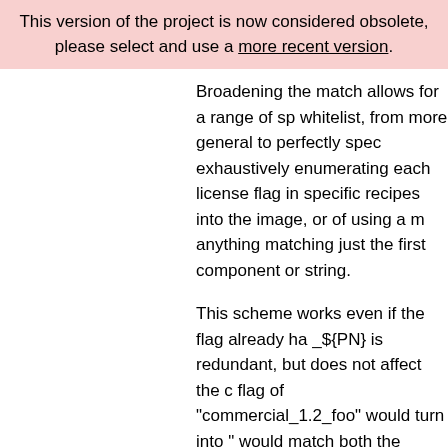This version of the project is now considered obsolete, please select and use a more recent version.
Broadening the match allows for a range of sp whitelist, from more general to perfectly spec exhaustively enumerating each license flag in specific recipes into the image, or of using a m anything matching just the first component or string.
This scheme works even if the flag already ha _${PN} is redundant, but does not affect the c flag of "commercial_1.2_foo" would turn into " would match both the general "commercial" a "commercial_1.2_foo", as expected. The flag w "commercial_1.2_foo_foo" and "commercial_1 sense regarding use in the whitelist.
For a versioned string, you could instead spec would turn into "commercial_foo_1.2_foo". An